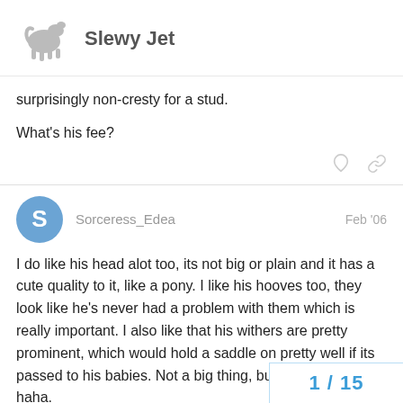Slewy Jet
surprisingly non-cresty for a stud.

What's his fee?
Sorceress_Edea  Feb '06
I do like his head alot too, its not big or plain and it has a cute quality to it, like a pony. I like his hooves too, they look like he's never had a problem with them which is really important. I also like that his withers are pretty prominent, which would hold a saddle on pretty well if its passed to his babies. Not a big thing, but something nice haha.
1 / 15